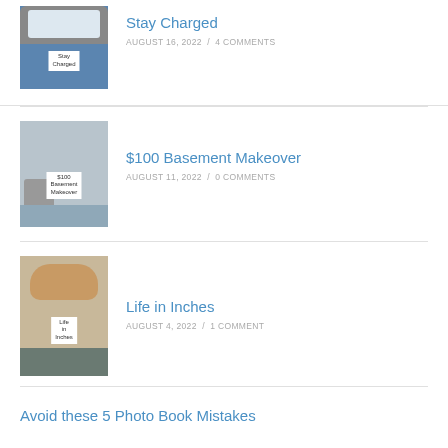[Figure (photo): Thumbnail image of a phone on blue background with 'Stay Charged' label]
Stay Charged
AUGUST 16, 2022 / 4 COMMENTS
[Figure (photo): Thumbnail image of a basement room with '$100 Basement Makeover' label]
$100 Basement Makeover
AUGUST 11, 2022 / 0 COMMENTS
[Figure (photo): Thumbnail image of a cat and shelves with 'Life in Inches' label]
Life in Inches
AUGUST 4, 2022 / 1 COMMENT
Avoid these 5 Photo Book Mistakes